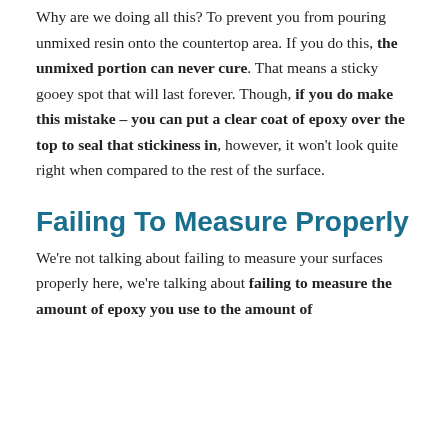Why are we doing all this? To prevent you from pouring unmixed resin onto the countertop area. If you do this, the unmixed portion can never cure. That means a sticky gooey spot that will last forever. Though, if you do make this mistake – you can put a clear coat of epoxy over the top to seal that stickiness in, however, it won't look quite right when compared to the rest of the surface.
Failing To Measure Properly
We're not talking about failing to measure your surfaces properly here, we're talking about failing to measure the amount of epoxy you use to the amount of